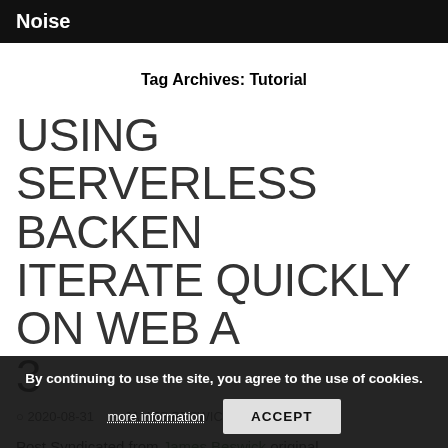Noise
Tag Archives: Tutorial
USING SERVERLESS BACKENDS TO ITERATE QUICKLY ON WEB APPS 3
2020-08-31   JAMES BESWICK
Post Syndicated from James Beswick original https://aws.amazon.com/blogs/compute/using-serverless-backends-on-web-apps-ha...
By continuing to use the site, you agree to the use of cookies. more information  ACCEPT